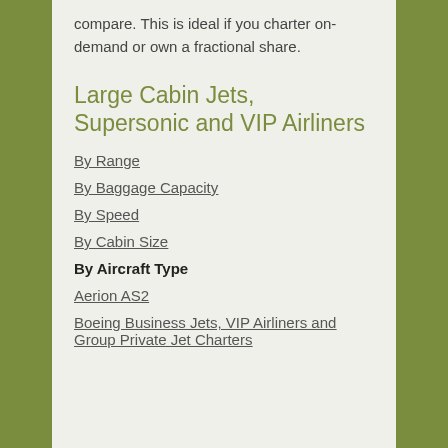compare. This is ideal if you charter on-demand or own a fractional share.
Large Cabin Jets, Supersonic and VIP Airliners
By Range
By Baggage Capacity
By Speed
By Cabin Size
By Aircraft Type
Aerion AS2
Boeing Business Jets, VIP Airliners and Group Private Jet Charters